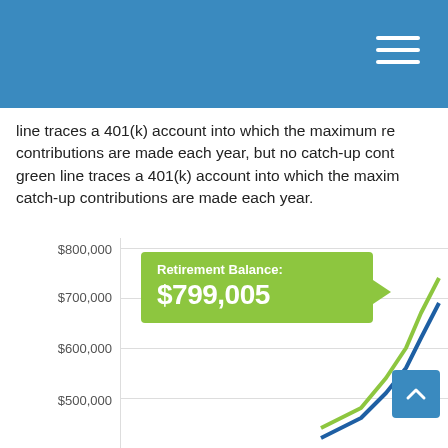line traces a 401(k) account into which the maximum regular contributions are made each year, but no catch-up contributions. The green line traces a 401(k) account into which the maximum regular and catch-up contributions are made each year.
Upon reaching retirement at age 67, both accounts begin making payments of $4,000 a month.
The hypothetical account without catch-up contributions runs out by the time its beneficiary reaches age 83.
[Figure (line-chart): Partial line chart showing retirement account balances. Y-axis labels visible: $800,000, $700,000, $600,000, $500,000. Tooltip showing Retirement Balance: $799,005 in green. Two lines visible in green and blue rising steeply near right edge.]